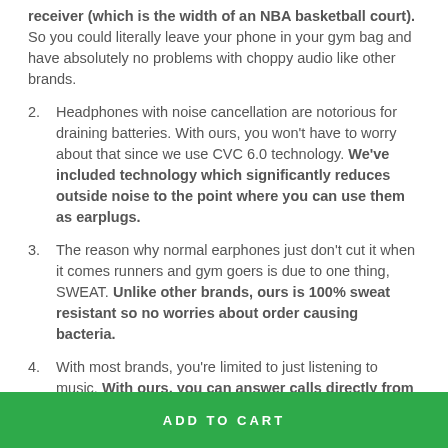receiver (which is the width of an NBA basketball court). So you could literally leave your phone in your gym bag and have absolutely no problems with choppy audio like other brands.
2. Headphones with noise cancellation are notorious for draining batteries. With ours, you won't have to worry about that since we use CVC 6.0 technology. We've included technology which significantly reduces outside noise to the point where you can use them as earplugs.
3. The reason why normal earphones just don't cut it when it comes runners and gym goers is due to one thing, SWEAT. Unlike other brands, ours is 100% sweat resistant so no worries about order causing bacteria.
4. With most brands, you're limited to just listening to music. With ours, you can answer calls directly from the headset without having to interrupt your workout.
ADD TO CART